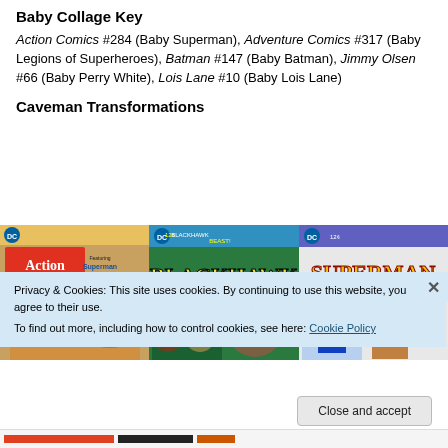Baby Collage Key
Action Comics #284 (Baby Superman), Adventure Comics #317 (Baby Legions of Superheroes), Batman #147 (Baby Batman), Jimmy Olsen #66 (Baby Perry White), Lois Lane #10 (Baby Lois Lane)
Caveman Transformations
[Figure (photo): A collage of three comic book covers: Action Comics featuring Clark Kent Caveman, Blackhawk Beast, and Superman The Nightman Ordeal of Superman]
Privacy & Cookies: This site uses cookies. By continuing to use this website, you agree to their use.
To find out more, including how to control cookies, see here: Cookie Policy
Close and accept